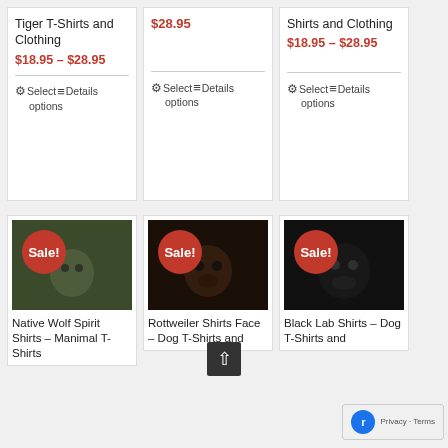Tiger T-Shirts and Clothing
$18.95 – $28.95
Select options   Details
$28.95
Select options   Details
Shirts and Clothing
$18.95 – $28.95
Select options   Details
[Figure (photo): Native Wolf Spirit Shirts - Manimal T-Shirts product image with Sale badge]
Native Wolf Spirit Shirts – Manimal T-Shirts
[Figure (photo): Rottweiler Shirts Face – Dog T-Shirts and product image with Sale badge]
Rottweiler Shirts Face – Dog T-Shirts and
[Figure (photo): Black Lab Shirts – Dog T-Shirts and product image with Sale badge]
Black Lab Shirts – Dog T-Shirts and